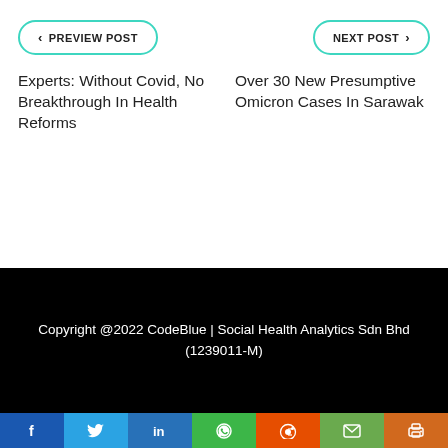< PREVIEW POST
NEXT POST >
Experts: Without Covid, No Breakthrough In Health Reforms
Over 30 New Presumptive Omicron Cases In Sarawak
Copyright @2022 CodeBlue | Social Health Analytics Sdn Bhd (1239011-M)